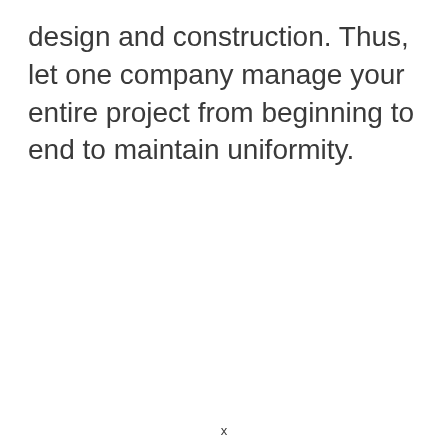design and construction. Thus, let one company manage your entire project from beginning to end to maintain uniformity.
x